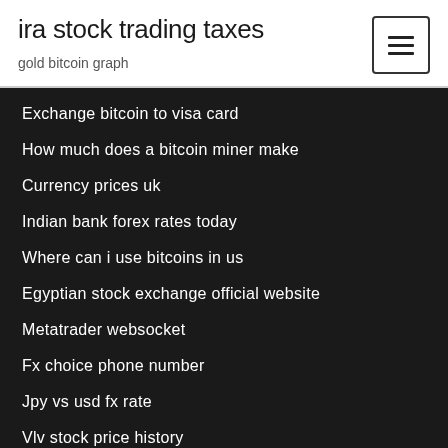ira stock trading taxes
gold bitcoin graph
Exchange bitcoin to visa card
How much does a bitcoin miner make
Currency prices uk
Indian bank forex rates today
Where can i use bitcoins in us
Egyptian stock exchange official website
Metatrader websocket
Fx choice phone number
Jpy vs usd fx rate
Vlv stock price history